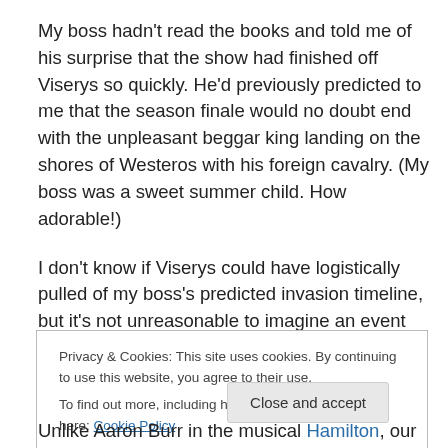My boss hadn't read the books and told me of his surprise that the show had finished off Viserys so quickly. He'd previously predicted to me that the season finale would no doubt end with the unpleasant beggar king landing on the shores of Westeros with his foreign cavalry. (My boss was a sweet summer child. How adorable!)
I don't know if Viserys could have logistically pulled of my boss's predicted invasion timeline, but it's not unreasonable to imagine an event like that happening.
Privacy & Cookies: This site uses cookies. By continuing to use this website, you agree to their use.
To find out more, including how to control cookies, see here: Cookie Policy
Close and accept
Unlike Aaron Burr in the musical Hamilton, our lad Viserys